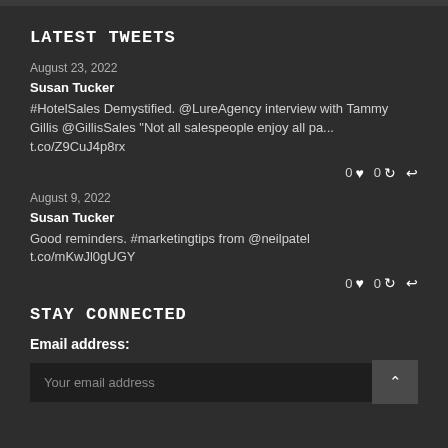LATEST TWEETS
August 23, 2022
Susan Tucker
#HotelSales Demystified. @LureAgency interview with Tammy Gillis @GillisSales "Not all salespeople enjoy all pa... t.co/Z9CuJ4p8rx
0 ♥ 0 ↺ ↩
August 9, 2022
Susan Tucker
Good reminders. #marketingtips from @neilpatel t.co/mKwJl0gUGY
0 ♥ 0 ↺ ↩
STAY CONNECTED
Email address:
Your email address